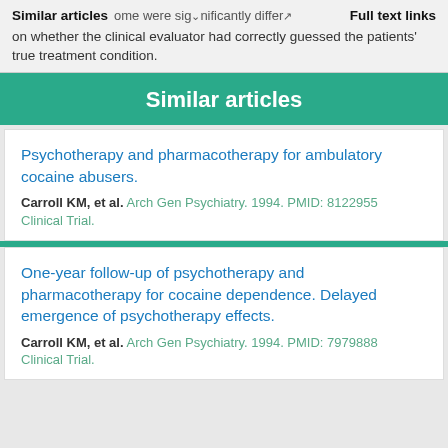Similar articles
some were significantly different on whether the clinical evaluator had correctly guessed the patients' true treatment condition.
Similar articles
Psychotherapy and pharmacotherapy for ambulatory cocaine abusers.
Carroll KM, et al. Arch Gen Psychiatry. 1994. PMID: 8122955
Clinical Trial.
One-year follow-up of psychotherapy and pharmacotherapy for cocaine dependence. Delayed emergence of psychotherapy effects.
Carroll KM, et al. Arch Gen Psychiatry. 1994. PMID: 7979888
Clinical Trial.